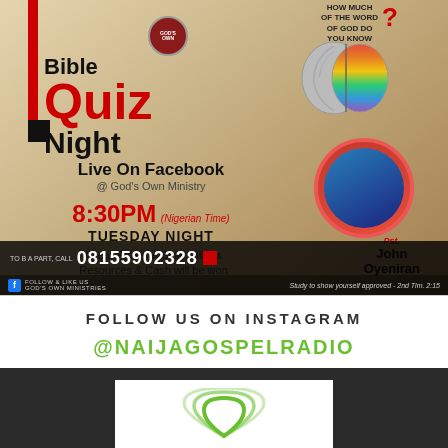[Figure (illustration): Bible Quiz Night promotional flyer for God's Own Ministry with brain graphic, portrait photo, Facebook Live details, time 8:30PM Nigerian Time Tuesday Night, phone number 08155902328, prizes mentioned]
FOLLOW US ON INSTAGRAM
@NAIJAGOSPELRADIO
[Figure (logo): Naija Gospel Radio logo preview at bottom on dark background]